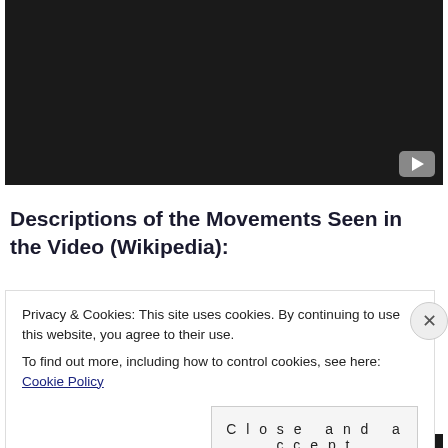[Figure (screenshot): Dark video player area with YouTube icon in bottom-right corner]
Descriptions of the Movements Seen in the Video (Wikipedia):
Privacy & Cookies: This site uses cookies. By continuing to use this website, you agree to their use.
To find out more, including how to control cookies, see here: Cookie Policy
Close and accept